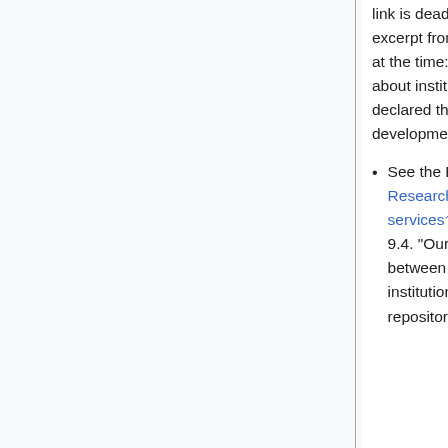link is dead and I can't find a live one. But here's an excerpt from the study, quoted in a blog post I wrote at the time: "Authors are not at all knowledgeable about institutional repositories: less than 10 per cent declared that they know 'a little' or 'a lot' about this development...."
See the Research Information Network, Researchers' use of academic libraries and their services, September 1, 2006, especially section 9.4. "Our survey shows a significant discrepancy between the proportion of librarians who say their institution has an open access institutional repository (52%) and the proportion of